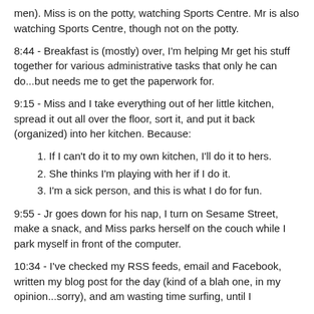men).  Miss is on the potty, watching Sports Centre.  Mr is also watching Sports Centre, though not on the potty.
8:44 - Breakfast is (mostly) over, I'm helping Mr get his stuff together for various administrative tasks that only he can do...but needs me to get the paperwork for.
9:15 - Miss and I take everything out of her little kitchen, spread it out all over the floor, sort it, and put it back (organized) into her kitchen.  Because:
If I can't do it to my own kitchen, I'll do it to hers.
She thinks I'm playing with her if I do it.
I'm a sick person, and this is what I do for fun.
9:55 - Jr goes down for his nap, I turn on Sesame Street, make a snack, and Miss parks herself on the couch while I park myself in front of the computer.
10:34 - I've checked my RSS feeds, email and Facebook, written my blog post for the day (kind of a blah one, in my opinion...sorry), and am wasting time surfing, until I